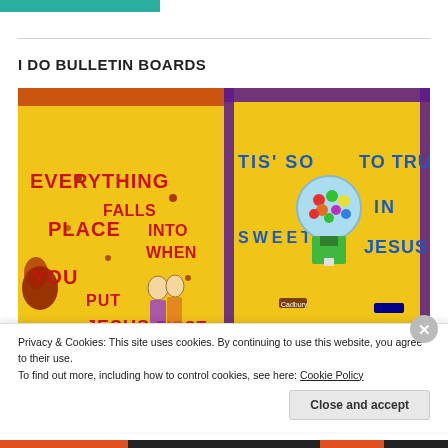I DO BULLETIN BOARDS
[Figure (photo): Two bulletin board photos side by side. Left: yellow background with red letters reading 'EVERYTHING FALLS INTO PLACE WHEN YOU PUT JESUS FIRST' with fall leaf decorations and scarecrow figures. Right: yellow background with blue/green letters reading 'TIS' SO SWEET TO TRUST IN JESUS' with a gumball machine illustration and candy decorations, purple border.]
Privacy & Cookies: This site uses cookies. By continuing to use this website, you agree to their use.
To find out more, including how to control cookies, see here: Cookie Policy
Close and accept